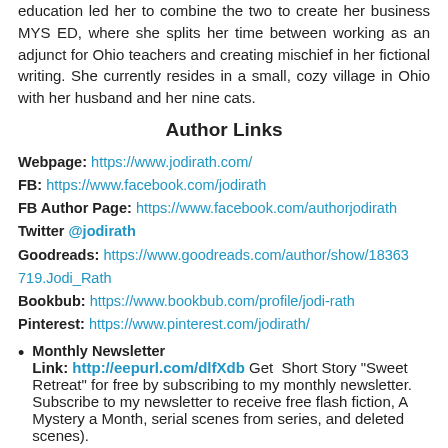education led her to combine the two to create her business MYS ED, where she splits her time between working as an adjunct for Ohio teachers and creating mischief in her fictional writing. She currently resides in a small, cozy village in Ohio with her husband and her nine cats.
Author Links
Webpage: https://www.jodirath.com/
FB: https://www.facebook.com/jodirath
FB Author Page: https://www.facebook.com/authorjodirath
Twitter @jodirath
Goodreads: https://www.goodreads.com/author/show/18363719.Jodi_Rath
Bookbub: https://www.bookbub.com/profile/jodi-rath
Pinterest: https://www.pinterest.com/jodirath/
Monthly Newsletter
Link: http://eepurl.com/dlfXdb Get Short Story "Sweet Retreat" for free by subscribing to my monthly newsletter. Subscribe to my newsletter to receive free flash fiction, A Mystery a Month, serial scenes from series, and deleted scenes).